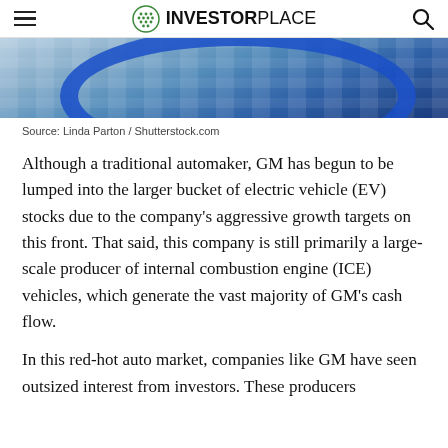InvestorPlace
[Figure (photo): Partial view of a glass building exterior with a curved blue architectural element (arc/ribbon) overlaid. Building facade with grid-like window pattern visible.]
Source: Linda Parton / Shutterstock.com
Although a traditional automaker, GM has begun to be lumped into the larger bucket of electric vehicle (EV) stocks due to the company’s aggressive growth targets on this front. That said, this company is still primarily a large-scale producer of internal combustion engine (ICE) vehicles, which generate the vast majority of GM’s cash flow.
In this red-hot auto market, companies like GM have seen outsized interest from investors. These producers...